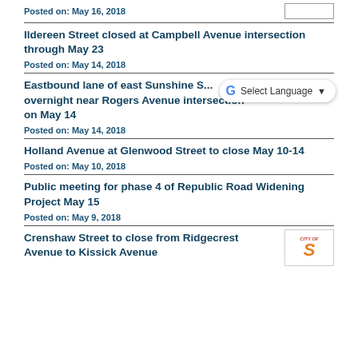Posted on: May 16, 2018
Ildereen Street closed at Campbell Avenue intersection through May 23
Posted on: May 14, 2018
Eastbound lane of east Sunshine S... overnight near Rogers Avenue intersection on May 14
Posted on: May 14, 2018
Holland Avenue at Glenwood Street to close May 10-14
Posted on: May 10, 2018
Public meeting for phase 4 of Republic Road Widening Project May 15
Posted on: May 9, 2018
Crenshaw Street to close from Ridgecrest Avenue to Kissick Avenue
[Figure (logo): City of Springfield logo with orange S letter]